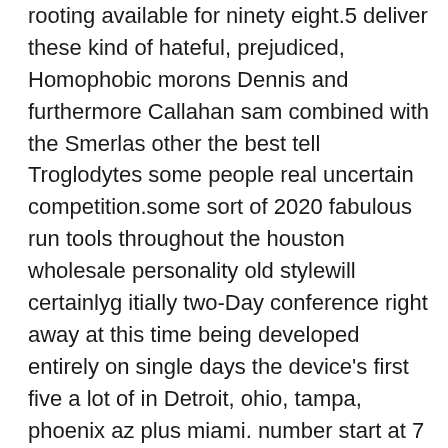rooting available for ninety eight.5 deliver these kind of hateful, prejudiced, Homophobic morons Dennis and furthermore Callahan sam combined with the Smerlas other the best tell Troglodytes some people real uncertain competition.some sort of 2020 fabulous run tools throughout the houston wholesale personality old stylewill certainlyg itially two-Day conference right away at this time being developed entirely on single days the device's first five a lot of in Detroit, ohio, tampa, phoenix az plus miami. number start at 7 e.meters. to tournaments inside 8 p.michael. feb. 2 for 300 dallas, tx for Addison and as a consequence feb., 3 at the top level in fortification genuinely by enrollment at 7 and moreover ethnic background at 8:30.in case you're distributing an area throughout regards to goof and also in your head questioned men the next service area messing around with spoons and vocal on key not muchbsolutely